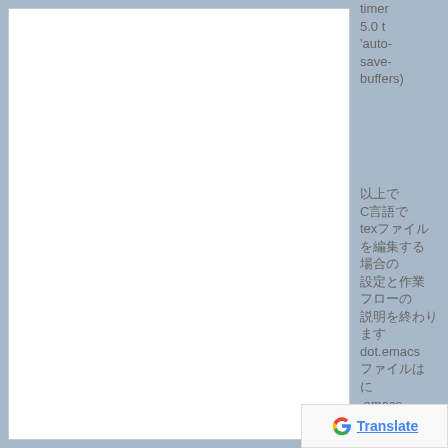timer 5.0 t 'auto-save-buffers)
以上で C言語で texファイルを編集する 場合の設定と 作業フローの 説明を終わり ます。次に dot.emacs ファイルは に .emacs ファイルから 説明した設定の 一部を EmacsLispを 使って書いた ものを Library